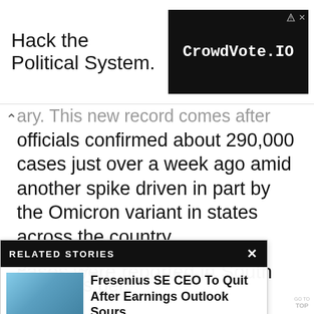[Figure (screenshot): Advertisement banner: 'Hack the Political System.' text on left, CrowdVote.IO logo on dark background on right]
...ary. This new record comes after officials confirmed about 290,000 cases just over a week ago amid another spike driven in part by the Omicron variant in states across the country.
[Figure (screenshot): Related Stories overlay panel showing: 'Fresenius SE CEO To Quit After Earnings Outlook Sours' with Fresenius building image]
...g average ...00 cases per ...pled across the first cases were reported in South Africa.